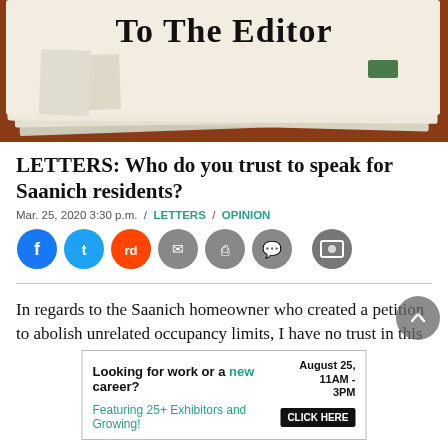[Figure (photo): Stack of newspapers on a wooden surface with 'To The Editor' text visible on top newspaper]
LETTERS: Who do you trust to speak for Saanich residents?
Mar. 25, 2020 3:30 p.m. / LETTERS / OPINION
[Figure (infographic): Social media sharing icons: Facebook, Twitter, Reddit, Email, Print, Comment, Gallery]
In regards to the Saanich homeowner who created a petition to abolish unrelated occupancy limits, I have no trust in this
[Figure (infographic): Advertisement banner: Looking for work or a new career? August 25, 11AM - 3PM. Featuring 25+ Exhibitors and Growing! CLICK HERE]